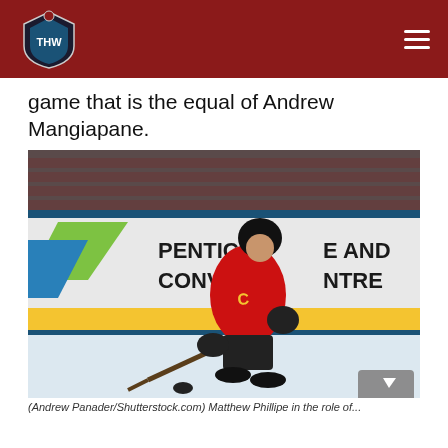THW
game that is the equal of Andrew Mangiapane.
[Figure (photo): Hockey player wearing a Calgary Flames red jersey with number 47, skating on ice in front of a Penticton Trade and Convention Centre rink board advertisement.]
(Andrew Panader/Shutterstock.com) Matthew Phillipe in the role of...